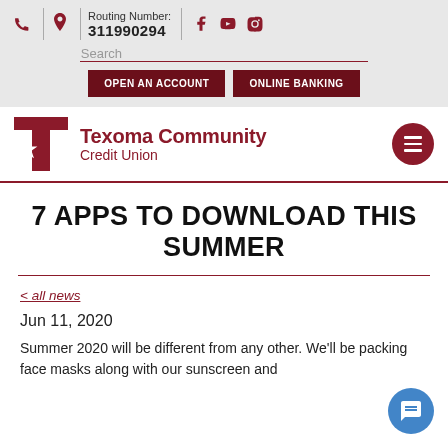Routing Number: 311990294
7 APPS TO DOWNLOAD THIS SUMMER
< all news
Jun 11, 2020
Summer 2020 will be different from any other. We'll be packing face masks along with our sunscreen and